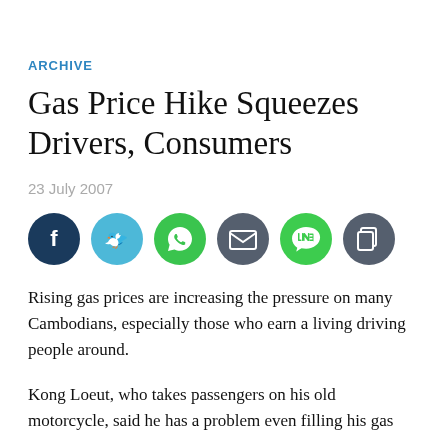ARCHIVE
Gas Price Hike Squeezes Drivers, Consumers
23 July 2007
[Figure (infographic): Row of six social sharing icon buttons: Facebook (dark blue), Twitter (light blue), WhatsApp (green), Email (dark grey), Line (bright green), Copy (dark grey)]
Rising gas prices are increasing the pressure on many Cambodians, especially those who earn a living driving people around.
Kong Loeut, who takes passengers on his old motorcycle, said he has a problem even filling his gas